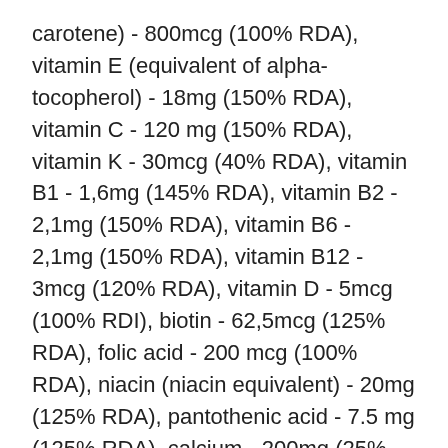carotene) - 800mcg (100% RDA), vitamin E (equivalent of alpha-tocopherol) - 18mg (150% RDA), vitamin C - 120 mg (150% RDA), vitamin K - 30mcg (40% RDA), vitamin B1 - 1,6mg (145% RDA), vitamin B2 - 2,1mg (150% RDA), vitamin B6 - 2,1mg (150% RDA), vitamin B12 - 3mcg (120% RDA), vitamin D - 5mcg (100% RDI), biotin - 62,5mcg (125% RDA), folic acid - 200 mcg (100% RDA), niacin (niacin equivalent) - 20mg (125% RDA), pantothenic acid - 7.5 mg (125% RDA), calcium - 200mg (25% RDA), phosphorus - 105mg (15% RDA), magnesium - 120 mg (32% RDA), iron - 3, 75mg (27% RDA), iodine - 100mcg (67% RDA), copper - 500mcg (50% RDA), manganese - 2 mg (100% RDI)